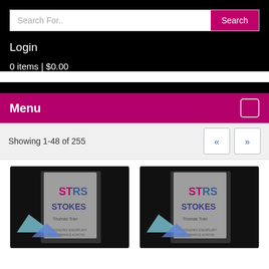Search For..
Search
Login
0 items | $0.00
Menu
Showing 1-48 of 255
[Figure (screenshot): Product card 1 showing a book titled STARS STOKES by Thomas Tran on a dark background]
[Figure (screenshot): Product card 2 showing a book titled STARS STOKES by Thomas Tran on a dark background]